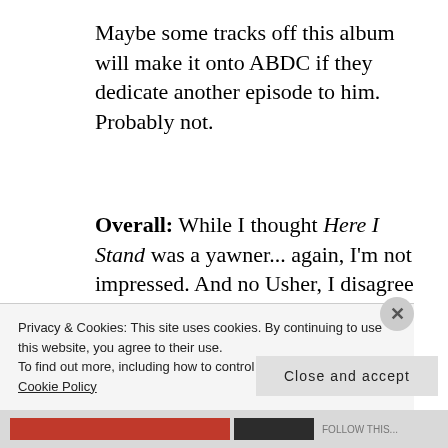Maybe some tracks off this album will make it onto ABDC if they dedicate another episode to him. Probably not.
Overall: While I thought Here I Stand was a yawner... again, I'm not impressed. And no Usher, I disagree with your theory on “Monstar.”  There are only two sides to a story.
Privacy & Cookies: This site uses cookies. By continuing to use this website, you agree to their use.
To find out more, including how to control cookies, see here:
Cookie Policy
Close and accept